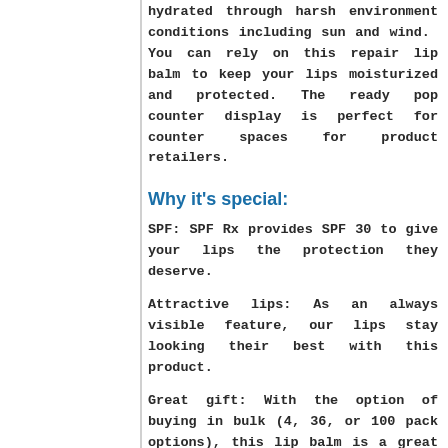hydrated through harsh environment conditions including sun and wind.  You can rely on this repair lip balm to keep your lips moisturized and protected. The ready pop counter display is perfect for counter spaces for product retailers.
Why it's special:
SPF: SPF Rx provides SPF 30 to give your lips the protection they deserve.
Attractive lips: As an always visible feature, our lips stay looking their best with this product.
Great gift: With the option of buying in bulk (4, 36, or 100 pack options), this lip balm is a great holiday gift option for family or party favors for an